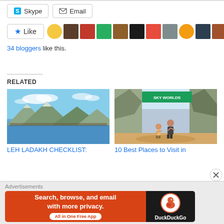[Figure (screenshot): Share buttons: Skype and Email]
[Figure (screenshot): Like button with star icon and avatar strip of blogger profile photos]
34 bloggers like this.
RELATED
[Figure (photo): Mountain landscape with blue sky and lake - LEH LADAKH CHECKLIST article thumbnail]
LEH LADAKH CHECKLIST:
[Figure (photo): Two people standing at SKY WORLDS attraction - 10 Best Places to Visit in article thumbnail]
10 Best Places to Visit in
[Figure (screenshot): DuckDuckGo advertisement banner: Search, browse, and email with more privacy. All in One Free App]
Advertisements